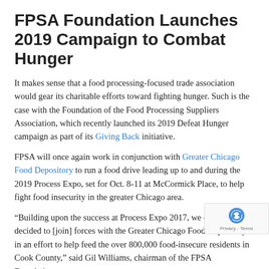FPSA Foundation Launches 2019 Campaign to Combat Hunger
It makes sense that a food processing-focused trade association would gear its charitable efforts toward fighting hunger. Such is the case with the Foundation of the Food Processing Suppliers Association, which recently launched its 2019 Defeat Hunger campaign as part of its Giving Back initiative.
FPSA will once again work in conjunction with Greater Chicago Food Depository to run a food drive leading up to and during the 2019 Process Expo, set for Oct. 8-11 at McCormick Place, to help fight food insecurity in the greater Chicago area.
“Building upon the success at Process Expo 2017, we once again decided to [join] forces with the Greater Chicago Food Depository in an effort to help feed the over 800,000 food-insecure residents in Cook County,” said Gil Williams, chairman of the FPSA Foundation.
The FPSA Foundation’s last Defeat Hunger campaign held in conjunction with Process Expo resulted in the…